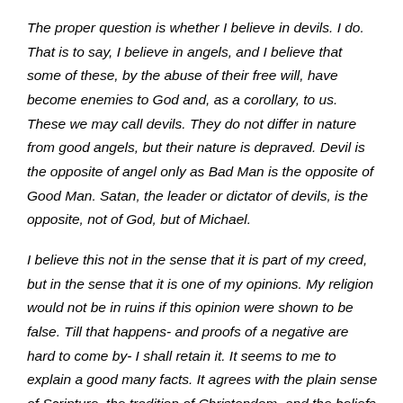The proper question is whether I believe in devils. I do. That is to say, I believe in angels, and I believe that some of these, by the abuse of their free will, have become enemies to God and, as a corollary, to us. These we may call devils. They do not differ in nature from good angels, but their nature is depraved. Devil is the opposite of angel only as Bad Man is the opposite of Good Man. Satan, the leader or dictator of devils, is the opposite, not of God, but of Michael.
I believe this not in the sense that it is part of my creed, but in the sense that it is one of my opinions. My religion would not be in ruins if this opinion were shown to be false. Till that happens- and proofs of a negative are hard to come by- I shall retain it. It seems to me to explain a good many facts. It agrees with the plain sense of Scripture, the tradition of Christendom, and the beliefs of most men at most times. And it conflicts with nothing that any of the sciences has shown to be true.